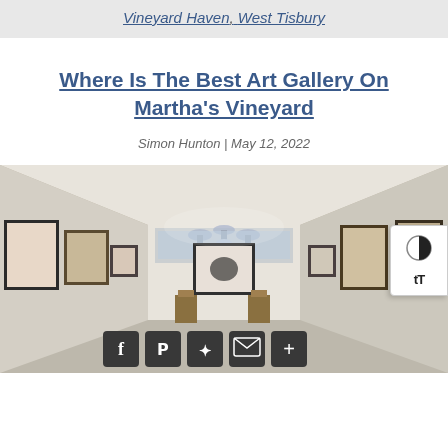Vineyard Haven, West Tisbury
Where Is The Best Art Gallery On Martha's Vineyard
Simon Hunton | May 12, 2022
[Figure (photo): Interior of an art gallery showing white walls lined with framed artwork, pendant lights hanging from the ceiling, and wooden display pedestals in the center of the room. Social media sharing icons (Facebook, Pinterest, Twitter, Email, Plus) overlay the bottom of the image.]